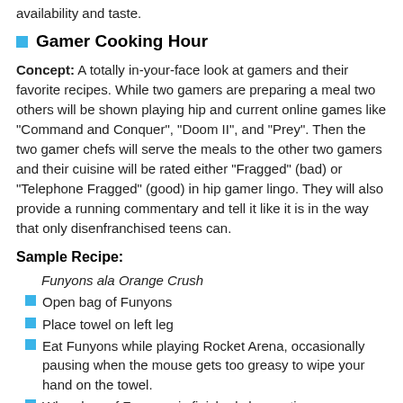availability and taste.
Gamer Cooking Hour
Concept: A totally in-your-face look at gamers and their favorite recipes. While two gamers are preparing a meal two others will be shown playing hip and current online games like "Command and Conquer", "Doom II", and "Prey". Then the two gamer chefs will serve the meals to the other two gamers and their cuisine will be rated either "Fragged" (bad) or "Telephone Fragged" (good) in hip gamer lingo. They will also provide a running commentary and tell it like it is in the way that only disenfranchised teens can.
Sample Recipe:
Funyons ala Orange Crush
Open bag of Funyons
Place towel on left leg
Eat Funyons while playing Rocket Arena, occasionally pausing when the mouse gets too greasy to wipe your hand on the towel.
When bag of Funyons is finished chug entire